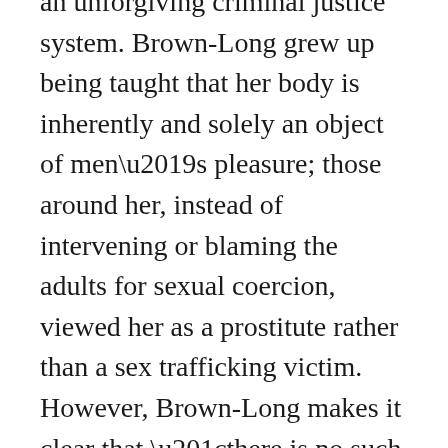an unforgiving criminal justice system. Brown-Long grew up being taught that her body is inherently and solely an object of men's pleasure; those around her, instead of intervening or blaming the adults for sexual coercion, viewed her as a prostitute rather than a sex trafficking victim. However, Brown-Long makes it clear that “there is no such thing as child prostitution; it’s called sexual exploitation.”